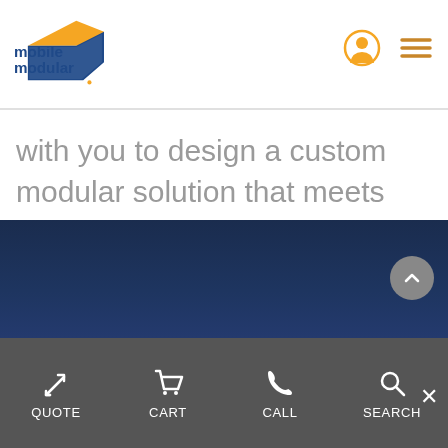Mobile Modular logo, user icon, menu icon
with you to design a custom modular solution that meets your exact requirements. With clients across a variety of commercial industries, we know how to deliver on time, on target, and on budget.
QUOTE CART CALL SEARCH